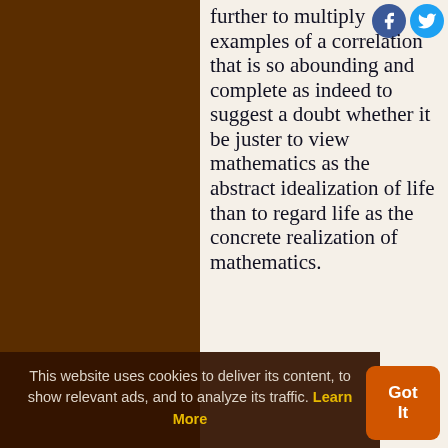further to multiply examples of a correlation that is so abounding and complete as indeed to suggest a doubt whether it be juster to view mathematics as the abstract idealization of life than to regard life as the concrete realization of mathematics.
— Cassius Jackson Keyser In 'The Humanization of Teaching of Mathematics', Science, New Series, 35, 645-46.
Science quotes on: | Abide (12) | Abstract (131) | Approximate (25) | Inspiration (59) | Attain (126) | At (195) | Bear (162) | Become (817) | Being (1277) | Belief (596) | Birth (152) | Boy
This website uses cookies to deliver its content, to show relevant ads, and to analyze its traffic. Learn More